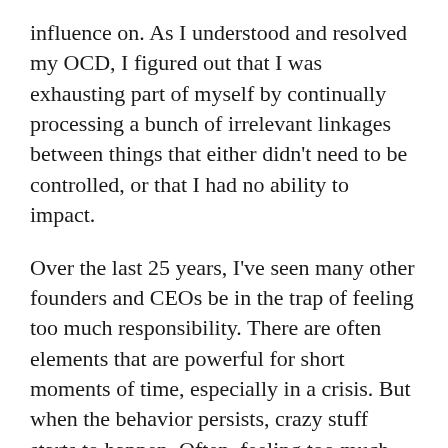influence on. As I understood and resolved my OCD, I figured out that I was exhausting part of myself by continually processing a bunch of irrelevant linkages between things that either didn't need to be controlled, or that I had no ability to impact.
Over the last 25 years, I've seen many other founders and CEOs be in the trap of feeling too much responsibility. There are often elements that are powerful for short moments of time, especially in a crisis. But when the behavior persists, crazy stuff starts to happen. Often, feeling too much responsibility is a destructive force to the people around the founder/CEO, the company, the founder/CEO's family, or the founder/CEO herself.